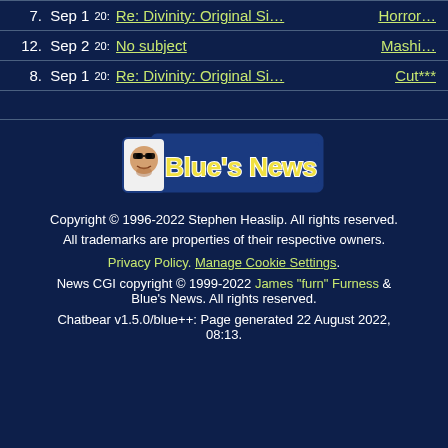7. Sep 1 20: Re: Divinity: Original Si... Horror...
12. Sep 2 20: No subject  Mashi...
8. Sep 1 20: Re: Divinity: Original Si...  Cut***
[Figure (logo): Blue's News logo — white and yellow text on blue background with illustrated face]
Copyright © 1996-2022 Stephen Heaslip. All rights reserved.
All trademarks are properties of their respective owners.
Privacy Policy. Manage Cookie Settings.
News CGI copyright © 1999-2022 James "furn" Furness & Blue's News. All rights reserved.
Chatbear v1.5.0/blue++: Page generated 22 August 2022, 08:13.